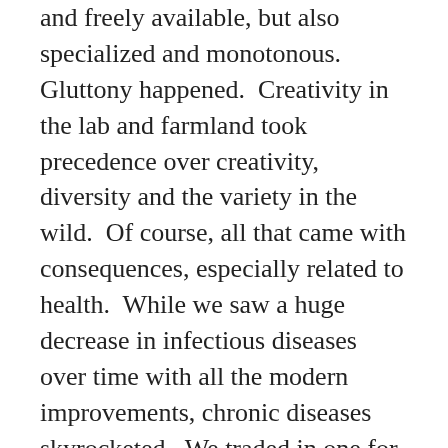and freely available, but also specialized and monotonous. Gluttony happened.  Creativity in the lab and farmland took precedence over creativity, diversity and the variety in the wild.  Of course, all that came with consequences, especially related to health.  While we saw a huge decrease in infectious diseases over time with all the modern improvements, chronic diseases skyrocketed.  We traded in one for the other.  Thus, lately, largely dictated by chronic health concerns, there has been a lot of impetus and push towards returning to traditional diets, spearheaded by groups such as the Weston A. Price Foundation, and the more recent off-